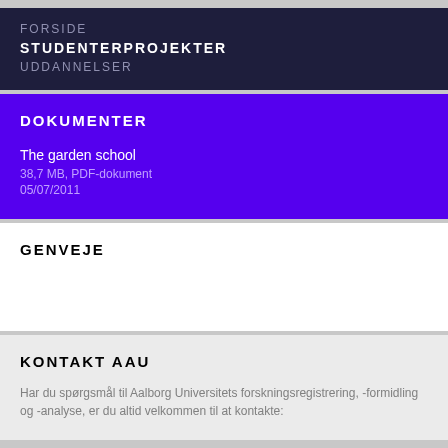FORSIDE
STUDENTERPROJEKTER
UDDANNELSER
DOKUMENTER
The garden school
38,7 MB, PDF-dokument
05/07/2011
GENVEJE
KONTAKT AAU
Har du spørgsmål til Aalborg Universitets forskningsregistrering, -formidling og -analyse, er du altid velkommen til at kontakte: